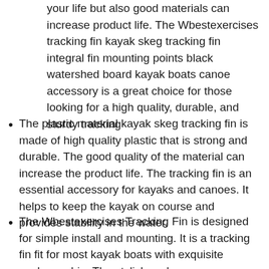your life but also good materials can increase product life. The Wbestexercises tracking fin kayak skeg tracking fin integral fin mounting points black watershed board kayak boats canoe accessory is a great choice for those looking for a high quality, durable, and sturdy tracking
The plastic material kayak skeg tracking fin is made of high quality plastic that is strong and durable. The good quality of the material can increase the product life. The tracking fin is an essential accessory for kayaks and canoes. It helps to keep the kayak on course and provides stability in the water.
The Wbestexercises Tracking Fin is designed for simple install and mounting. It is a tracking fin fit for most kayak boats with exquisite workmanship. The stylish and